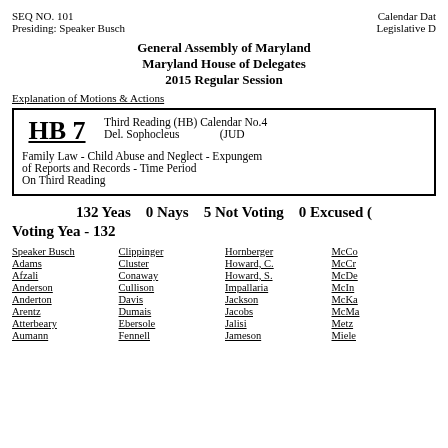SEQ NO. 101   Presiding: Speaker Busch   Calendar Date   Legislative D
General Assembly of Maryland
Maryland House of Delegates
2015 Regular Session
Explanation of Motions & Actions
HB 7   Third Reading (HB) Calendar No.4   Del. Sophocleus   (JUD   Family Law - Child Abuse and Neglect - Expungement of Reports and Records - Time Period   On Third Reading
132 Yeas   0 Nays   5 Not Voting   0 Excused (
Voting Yea - 132
Speaker Busch
Adams
Afzali
Anderson
Anderton
Arentz
Atterbeary
Aumann
Clippinger
Cluster
Conaway
Cullison
Davis
Dumais
Ebersole
Fennell
Hornberger
Howard, C.
Howard, S.
Impallaria
Jackson
Jacobs
Jalisi
Jameson
McCo
McCr
McDe
McIn
McKa
McMa
Metz
Miele